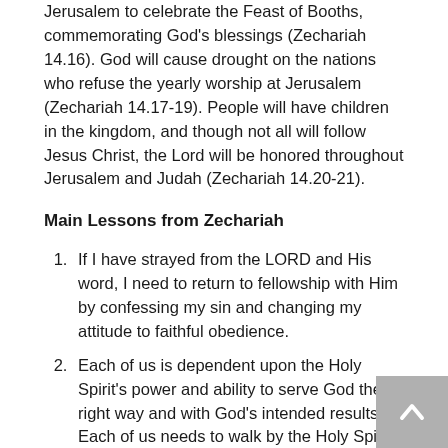Jerusalem to celebrate the Feast of Booths, commemorating God's blessings (Zechariah 14.16). God will cause drought on the nations who refuse the yearly worship at Jerusalem (Zechariah 14.17-19). People will have children in the kingdom, and though not all will follow Jesus Christ, the Lord will be honored throughout Jerusalem and Judah (Zechariah 14.20-21).
Main Lessons from Zechariah
If I have strayed from the LORD and His word, I need to return to fellowship with Him by confessing my sin and changing my attitude to faithful obedience.
Each of us is dependent upon the Holy Spirit's power and ability to serve God the right way and with God's intended results. Each of us needs to walk by the Holy Spirit—to be filled with the Holy Spirit.
Ritual for ritual sake did not please God in the past and neither will it please God now. Why do we observe communion? What do we think about during that ritual?
God has disciplined Israel because of her sin, but her promised national future and blessing is sure and nonrevocable.
History is marked by hatred and attacks against Israel and